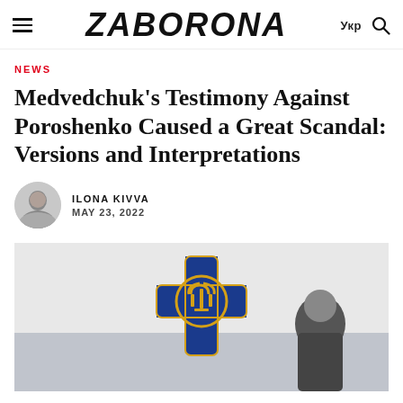ZABORONA | Укр
NEWS
Medvedchuk's Testimony Against Poroshenko Caused a Great Scandal: Versions and Interpretations
ILONA KIVVA
MAY 23, 2022
[Figure (photo): Photo showing a blue cross-shaped SBU (Security Service of Ukraine) emblem/badge with golden trident in the center, with people partially visible in the background.]